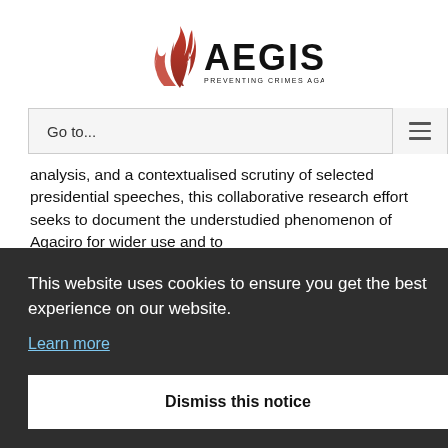[Figure (logo): Aegis logo with red flame graphic and text 'AEGIS PREVENTING CRIMES AGAINST HUMANITY']
Go to...
analysis, and a contextualised scrutiny of selected presidential speeches, this collaborative research effort seeks to document the understudied phenomenon of Agaciro for wider use and to
This website uses cookies to ensure you get the best experience on our website.
Learn more
Dismiss this notice
Author: Venantie Nyiransabimana is in the final phase of her